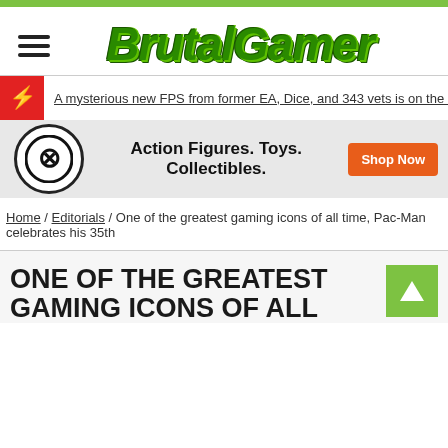[Figure (logo): BrutalGamer website logo in green pixelated bold italic text]
A mysterious new FPS from former EA, Dice, and 343 vets is on the hunt for a
[Figure (logo): Entertainment Earth logo - black circle with E symbol, ad banner: Action Figures. Toys. Collectibles. Shop Now]
Home / Editorials / One of the greatest gaming icons of all time, Pac-Man celebrates his 35th
ONE OF THE GREATEST GAMING ICONS OF ALL